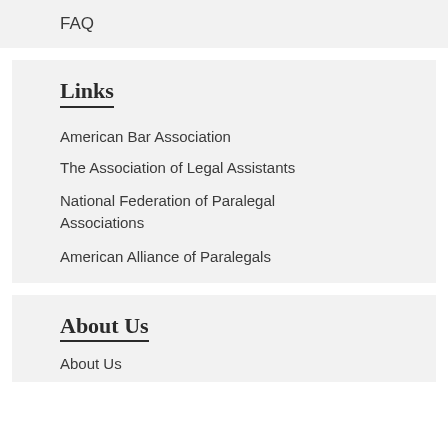FAQ
Links
American Bar Association
The Association of Legal Assistants
National Federation of Paralegal Associations
American Alliance of Paralegals
About Us
About Us